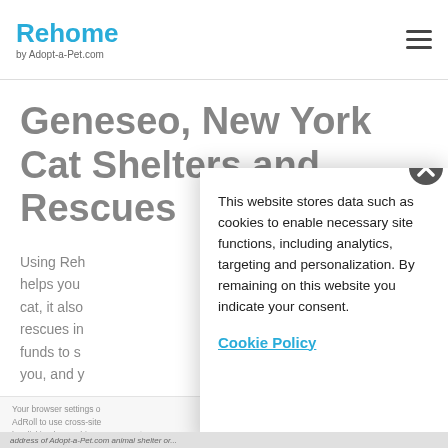Rehome by Adopt-a-Pet.com
Geneseo, New York Cat Shelters and Rescues
Using Rehome helps you cat, it also rescues in funds to s you, and y
This website stores data such as cookies to enable necessary site functions, including analytics, targeting and personalization. By remaining on this website you indicate your consent.
Cookie Policy
Your browser settings o AdRoll to use cross-site by clicking here. This m...